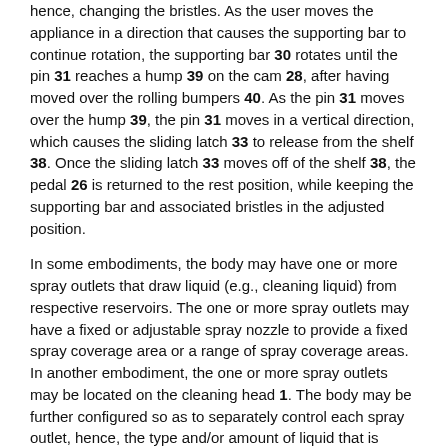hence, changing the bristles. As the user moves the appliance in a direction that causes the supporting bar to continue rotation, the supporting bar 30 rotates until the pin 31 reaches a hump 39 on the cam 28, after having moved over the rolling bumpers 40. As the pin 31 moves over the hump 39, the pin 31 moves in a vertical direction, which causes the sliding latch 33 to release from the shelf 38. Once the sliding latch 33 moves off of the shelf 38, the pedal 26 is returned to the rest position, while keeping the supporting bar and associated bristles in the adjusted position.
In some embodiments, the body may have one or more spray outlets that draw liquid (e.g., cleaning liquid) from respective reservoirs. The one or more spray outlets may have a fixed or adjustable spray nozzle to provide a fixed spray coverage area or a range of spray coverage areas. In another embodiment, the one or more spray outlets may be located on the cleaning head 1. The body may be further configured so as to separately control each spray outlet, hence, the type and/or amount of liquid that is applied to the floor from the spray outlet.
As shown in FIGS. 7A-7B and 8, the body 50 has a handle portion 51, a pole portion 52, and a body portion 53. The handle portion 51 includes a trigger 54, a selector switch 55, and a handle body 56. The pole portion 52 has one or more conduits 57 for providing communication (e.g., electrical/mechanical control) and/or mechanical support/coupling between the handle portion 51 and the body portion 53. The pole portion 52 also